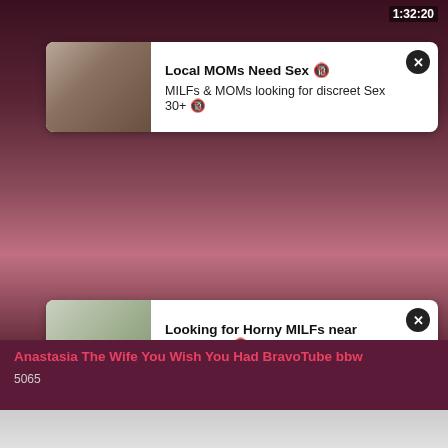[Figure (screenshot): Video player screenshot showing a blurred close-up face video with timestamp 1:32:20 and duration 40:16, with two adult advertisement overlay cards]
Local MOMs Need Sex 🔞
MILFs & MOMs looking for discreet Sex 30+ 🔞
Looking for Horny MILFs near Ashburn? 🔞
Text & Fuck a Cheating MOM Near You 🔞
Anastasia The Wife You Wish You Had BravoTube bbw
5065